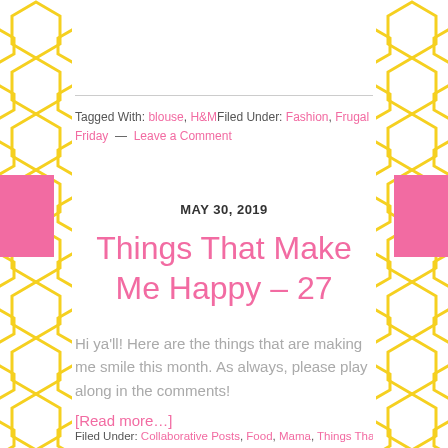Tagged With: blouse, H&M Filed Under: Fashion, Frugal Friday — Leave a Comment
MAY 30, 2019
Things That Make Me Happy – 27
Hi ya'll! Here are the things that are making me smile this month. As always, please play along in the comments!
[Read more…]
Filed Under: Collaborative Posts, Food, Mama, Things That Make Me Happy,